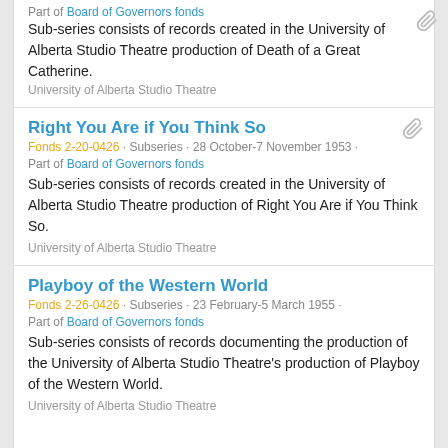Part of Board of Governors fonds
Sub-series consists of records created in the University of Alberta Studio Theatre production of Death of a Great Catherine.
University of Alberta Studio Theatre
Right You Are if You Think So
Fonds 2-20-0426 · Subseries · 28 October-7 November 1953 · Part of Board of Governors fonds
Sub-series consists of records created in the University of Alberta Studio Theatre production of Right You Are if You Think So.
University of Alberta Studio Theatre
Playboy of the Western World
Fonds 2-26-0426 · Subseries · 23 February-5 March 1955 · Part of Board of Governors fonds
Sub-series consists of records documenting the production of the University of Alberta Studio Theatre's production of Playboy of the Western World.
University of Alberta Studio Theatre